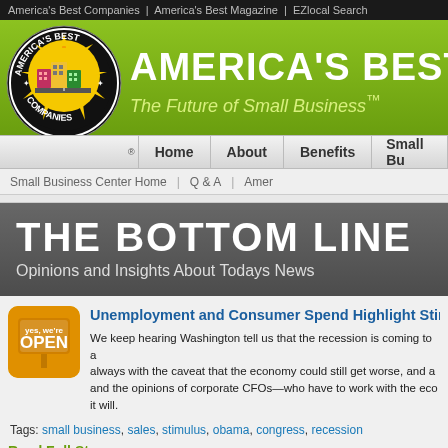America's Best Companies | America's Best Magazine | EZlocal Search
[Figure (logo): America's Best Companies circular logo with illustrated buildings and sun rays]
AMERICA'S BEST CO
The Future of Small Business™
Home | About | Benefits | Small Bu...
Small Business Center Home | Q & A | Amer...
The Bottom Line
Opinions and Insights About Todays News
Unemployment and Consumer Spend Highlight Stimulu...
We keep hearing Washington tell us that the recession is coming to a... always with the caveat that the economy could still get worse, and a... and the opinions of corporate CFOs—who have to work with the eco... it will.
Tags: small business, sales, stimulus, obama, congress, recession
Read Full Story »